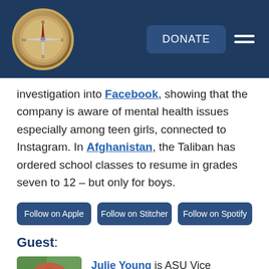DONATE [navigation header with compass logo]
investigation into Facebook, showing that the company is aware of mental health issues especially among teen girls, connected to Instagram. In Afghanistan, the Taliban has ordered school classes to resume in grades seven to 12 – but only for boys.
Follow on Apple
Follow on Stitcher
Follow on Spotify
Guest:
Julie Young is ASU Vice President of Education Outreach and Student